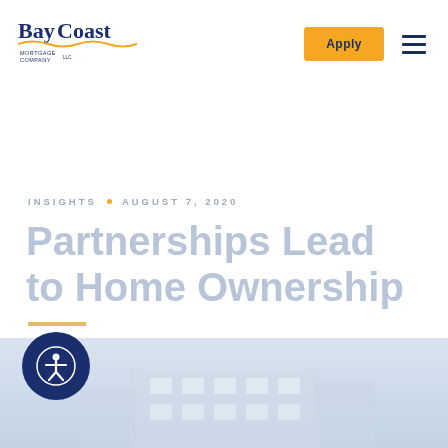BayCoast Mortgage Company
INSIGHTS · AUGUST 7, 2020
Partnerships Lead to Home Ownership
[Figure (photo): Bottom portion showing a light blue sky with a building/house silhouette, partially visible at the bottom of the page]